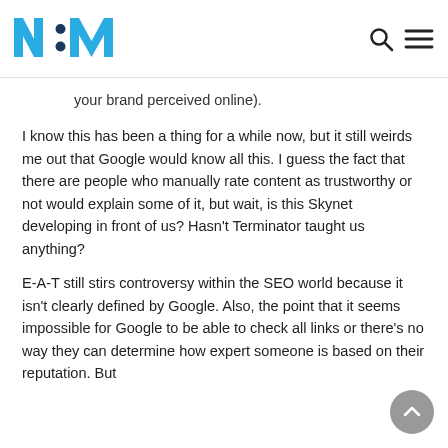N:M logo with search and menu icons
your brand perceived online).
I know this has been a thing for a while now, but it still weirds me out that Google would know all this. I guess the fact that there are people who manually rate content as trustworthy or not would explain some of it, but wait, is this Skynet developing in front of us? Hasn't Terminator taught us anything?
E-A-T still stirs controversy within the SEO world because it isn't clearly defined by Google. Also, the point that it seems impossible for Google to be able to check all links or there's no way they can determine how expert someone is based on their reputation. But